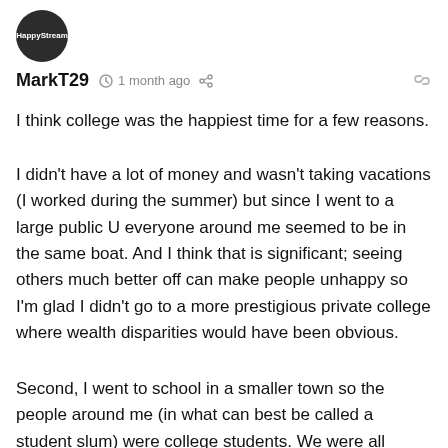[Figure (illustration): Dark circular avatar icon with small text inside]
MarkT29  1 month ago
I think college was the happiest time for a few reasons.
I didn't have a lot of money and wasn't taking vacations (I worked during the summer) but since I went to a large public U everyone around me seemed to be in the same boat. And I think that is significant; seeing others much better off can make people unhappy so I'm glad I didn't go to a more prestigious private college where wealth disparities would have been obvious.
Second, I went to school in a smaller town so the people around me (in what can best be called a student slum) were college students. We were all single and away from home so open to making new friends in a way that people in their working years living in a less compact community and raising their own families